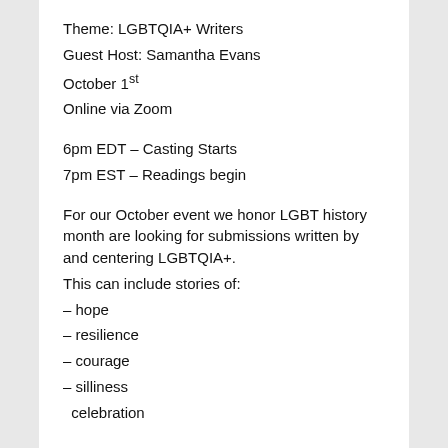Theme: LGBTQIA+ Writers
Guest Host: Samantha Evans
October 1st
Online via Zoom
6pm EDT – Casting Starts
7pm EST – Readings begin
For our October event we honor LGBT history month are looking for submissions written by and centering LGBTQIA+.
This can include stories of:
– hope
– resilience
– courage
– silliness
– celebration